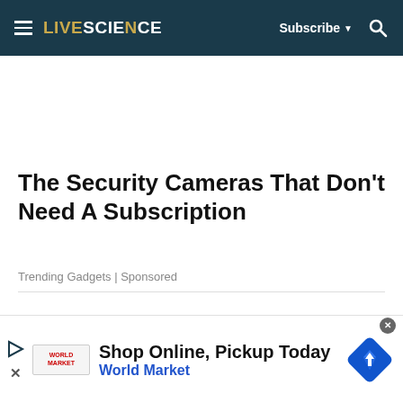LIVESCIENCE | Subscribe | Search
The Security Cameras That Don't Need A Subscription
Trending Gadgets | Sponsored
[Figure (screenshot): Advertisement banner: Shop Online, Pickup Today — World Market, with play button, close button, World Market logo, and diamond-shaped icon]